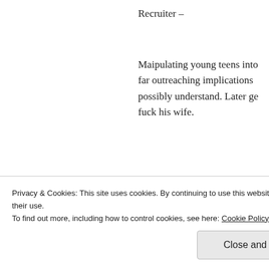Recruiter –
Maipulating young teens into far outreaching implications possibly understand. Later ge fuck his wife.
★ Like
Joey j says:
January 20, 2018 at 23:31
Ok Mr entitled . One we POG never l do you get your gear from a fucking P te
Privacy & Cookies: This site uses cookies. By continuing to use this website, you agree to their use.
To find out more, including how to control cookies, see here: Cookie Policy
Close and accept